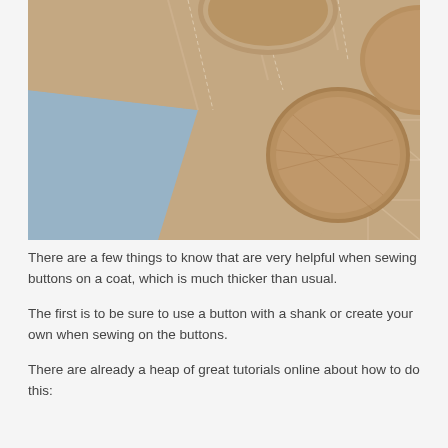[Figure (photo): Close-up photograph of fabric-covered buttons on a tan/beige plaid wool coat fabric, with blue fabric visible underneath the coat flap.]
There are a few things to know that are very helpful when sewing buttons on a coat, which is much thicker than usual.
The first is to be sure to use a button with a shank or create your own when sewing on the buttons.
There are already a heap of great tutorials online about how to do this: